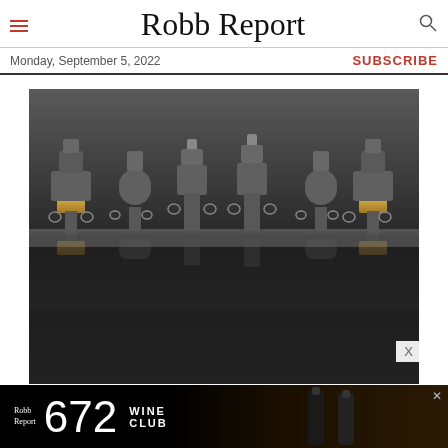Robb Report
Monday, September 5, 2022
SUBSCRIBE
[Figure (photo): Six metallic chess-piece-like objects with reflective dark surface and gold accents, arranged in a row on a reflective dark table. Their mirror reflections visible below.]
[Figure (photo): Advertisement banner: Robb Report 672 Wine Club with wine bottle imagery on black background]